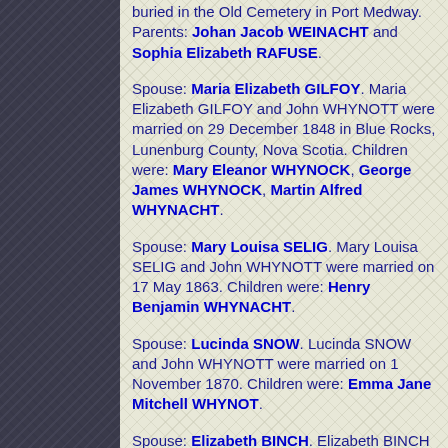buried in the Old Cemetery in Port Medway. Parents: Johan Jacob WEINACHT and Sophia Elizabeth RAFUSE.
Spouse: Maria Elizabeth GILFOY. Maria Elizabeth GILFOY and John WHYNOTT were married on 29 December 1848 in Blue Rocks, Lunenburg County, Nova Scotia. Children were: Mary Eleanor WHYNOCK, George James WHYNOCK, Martin Alfred WHYNACHT.
Spouse: Mary Louisa SELIG. Mary Louisa SELIG and John WHYNOTT were married on 17 May 1863. Children were: Henry Benjamin WHYNACHT.
Spouse: Lucinda SNOW. Lucinda SNOW and John WHYNOTT were married on 1 November 1870. Children were: Emma Jane Mitchell WHYNOT.
Spouse: Elizabeth BINCH. Elizabeth BINCH and John WHYNOTT were married